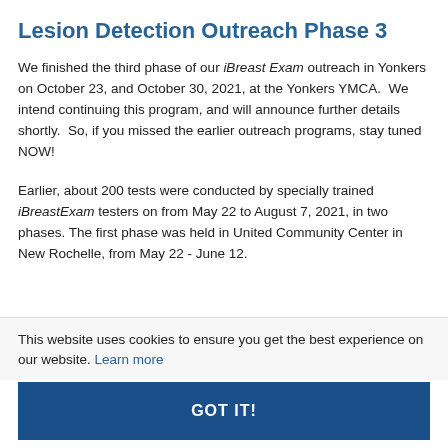Lesion Detection Outreach Phase 3
We finished the third phase of our iBreast Exam outreach in Yonkers on October 23, and October 30, 2021, at the Yonkers YMCA. We intend continuing this program, and will announce further details shortly. So, if you missed the earlier outreach programs, stay tuned NOW!
Earlier, about 200 tests were conducted by specially trained iBreastExam testers on from May 22 to August 7, 2021, in two phases. The first phase was held in United Community Center in New Rochelle, from May 22 - June 12.
This website uses cookies to ensure you get the best experience on our website. Learn more
GOT IT!